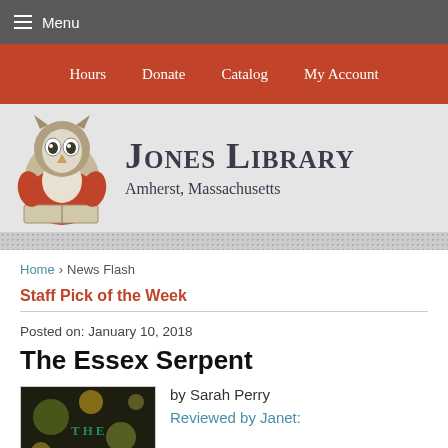Menu
Hours  Donate  Catalog  My Account
[Figure (logo): Jones Library owl mascot logo with text: JONES LIBRARY, Amherst, Massachusetts]
Home › News Flash
Staff Pick of the Week
Posted on: January 10, 2018
The Essex Serpent
by Sarah Perry
Reviewed by Janet: